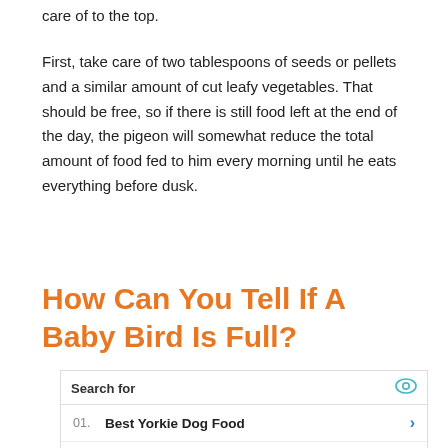care of to the top.
First, take care of two tablespoons of seeds or pellets and a similar amount of cut leafy vegetables. That should be free, so if there is still food left at the end of the day, the pigeon will somewhat reduce the total amount of food fed to him every morning until he eats everything before dusk.
How Can You Tell If A Baby Bird Is Full?
| Search for |  |  |
| --- | --- | --- |
| 01. | Best Yorkie Dog Food | > |
| 02. | Best Dog Food For Allergies | > |
Yahoo! Search | Sponsored